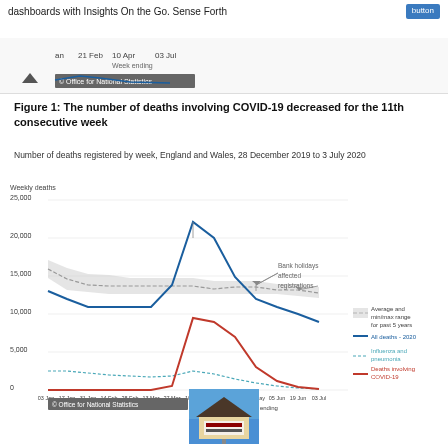dashboards with Insights On the Go. Sense Forth
[Figure (screenshot): Partial screenshot of a line chart showing week ending dates: Jan, 21 Feb, 10 Apr, 03 Jul with Office for National Statistics badge]
Figure 1: The number of deaths involving COVID-19 decreased for the 11th consecutive week
Number of deaths registered by week, England and Wales, 28 December 2019 to 3 July 2020
[Figure (line-chart): Number of deaths registered by week, England and Wales, 28 December 2019 to 3 July 2020]
[Figure (photo): Photograph of a building sign outdoors]